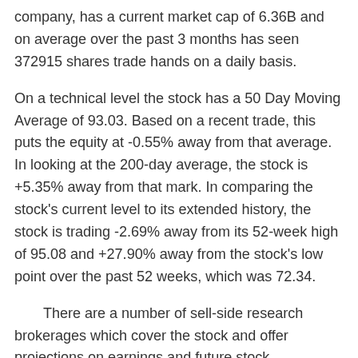company, has a current market cap of 6.36B and on average over the past 3 months has seen 372915 shares trade hands on a daily basis.
On a technical level the stock has a 50 Day Moving Average of 93.03. Based on a recent trade, this puts the equity at -0.55% away from that average. In looking at the 200-day average, the stock is +5.35% away from that mark. In comparing the stock's current level to its extended history, the stock is trading -2.69% away from its 52-week high of 95.08 and +27.90% away from the stock's low point over the past 52 weeks, which was 72.34.
There are a number of sell-side research brokerages which cover the stock and offer projections on earnings and future stock movement. On a consensus basis, analysts have a one year target price of 95.00. The company has a trailing 12-month EPS of 9.78. The consensus analyst estimates according to First